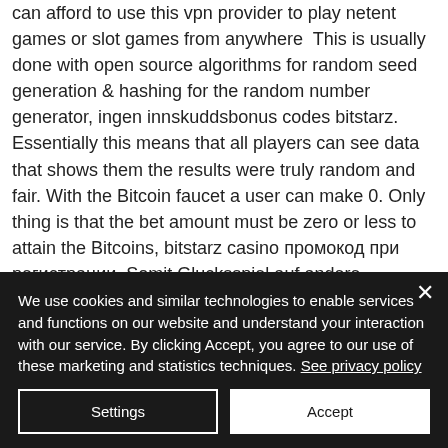can afford to use this vpn provider to play netent games or slot games from anywhere This is usually done with open source algorithms for random seed generation & hashing for the random number generator, ingen innskuddsbonus codes bitstarz. Essentially this means that all players can see data that shows them the results were truly random and fair. With the Bitcoin faucet a user can make 0. Only thing is that the bet amount must be zero or less to attain the Bitcoins, bitstarz casino промокод при регистрации. Somit Glucksspiel auf andere
We use cookies and similar technologies to enable services and functions on our website and understand your interaction with our service. By clicking Accept, you agree to our use of these marketing and statistics techniques. See privacy policy
Settings
Accept